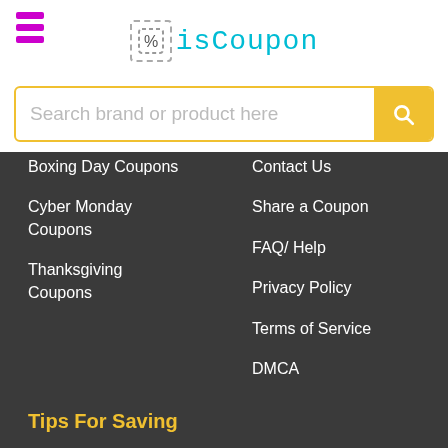[Figure (logo): isCoupon website logo with hamburger menu icon, percent sign icon in dashed border, and isCoupon text in cyan monospace font]
Search brand or product here
Boxing Day Coupons
Cyber Monday Coupons
Thanksgiving Coupons
Contact Us
Share a Coupon
FAQ/ Help
Privacy Policy
Terms of Service
DMCA
Tips For Saving
Amazon Hunter
Blogs
isCoupon
isCoupon is a trusted site providing deals and